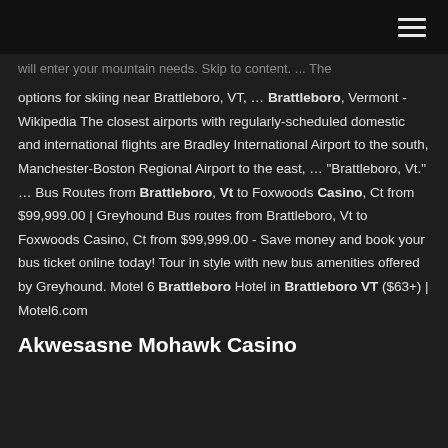[navigation bar with hamburger menu]
will enter your mountain needs. Skip to content. ... The options for skiing near Brattleboro, VT, ... Brattleboro, Vermont - Wikipedia The closest airports with regularly-scheduled domestic and international flights are Bradley International Airport to the south, Manchester-Boston Regional Airport to the east, ... "Brattleboro, Vt." ... Bus Routes from Brattleboro, Vt to Foxwoods Casino, Ct from $99,999.00 | Greyhound Bus routes from Brattleboro, Vt to Foxwoods Casino, Ct from $99,999.00 - Save money and book your bus ticket online today! Tour in style with new bus amenities offered by Greyhound. Motel 6 Brattleboro Hotel in Brattleboro VT ($63+) | Motel6.com
Akwesasne Mohawk Casino